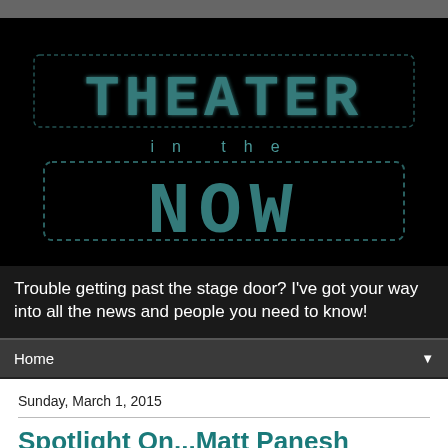[Figure (logo): Theater in the Now blog logo — large dark background with dotted/bulleted letter styling spelling THEATER in the NOW, teal/dark cyan color scheme]
Trouble getting past the stage door? I've got your way into all the news and people you need to know!
Home ▼
Sunday, March 1, 2015
Spotlight On...Matt Panesh